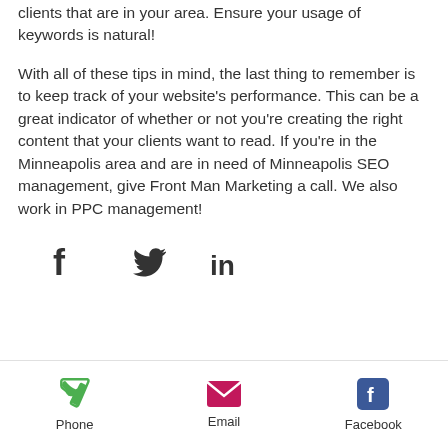clients that are in your area. Ensure your usage of keywords is natural!
With all of these tips in mind, the last thing to remember is to keep track of your website's performance. This can be a great indicator of whether or not you're creating the right content that your clients want to read. If you're in the Minneapolis area and are in need of Minneapolis SEO management, give Front Man Marketing a call. We also work in PPC management!
[Figure (infographic): Social sharing icons: Facebook (f), Twitter (bird), LinkedIn (in)]
[Figure (infographic): Mobile footer bar with Phone, Email, and Facebook contact icons]